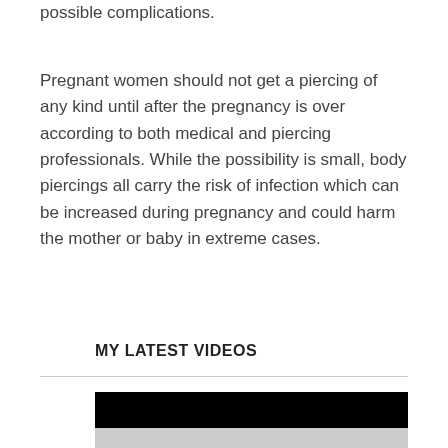possible complications.
Pregnant women should not get a piercing of any kind until after the pregnancy is over according to both medical and piercing professionals. While the possibility is small, body piercings all carry the risk of infection which can be increased during pregnancy and could harm the mother or baby in extreme cases.
MY LATEST VIDEOS
[Figure (screenshot): Video player with black top bar and gray content area below]